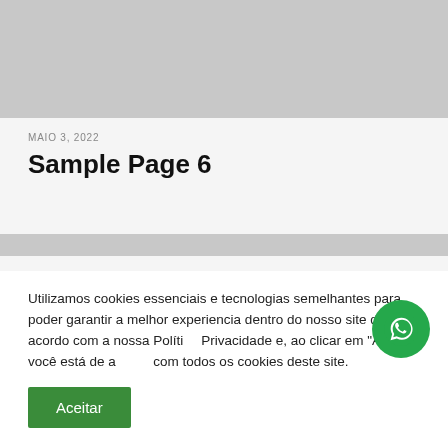[Figure (other): Gray image placeholder at top of page]
MAIO 3, 2022
Sample Page 6
[Figure (other): Gray navigation bar]
Utilizamos cookies essenciais e tecnologias semelhantes para poder garantir a melhor experiencia dentro do nosso site de acordo com a nossa Política Privacidade e, ao clicar em "Aceitar" você está de acordo com todos os cookies deste site.
[Figure (other): WhatsApp floating button (green circle with WhatsApp icon)]
Aceitar